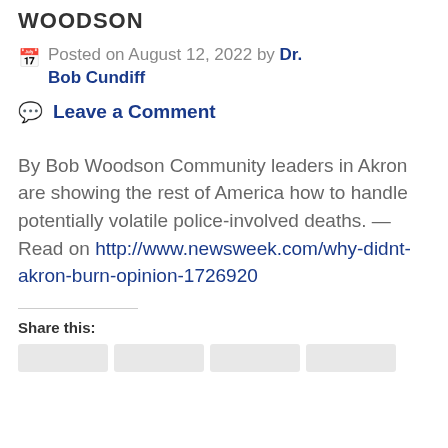WOODSON
Posted on August 12, 2022 by Dr. Bob Cundiff
Leave a Comment
By Bob Woodson Community leaders in Akron are showing the rest of America how to handle potentially volatile police-involved deaths. — Read on http://www.newsweek.com/why-didnt-akron-burn-opinion-1726920
Share this: